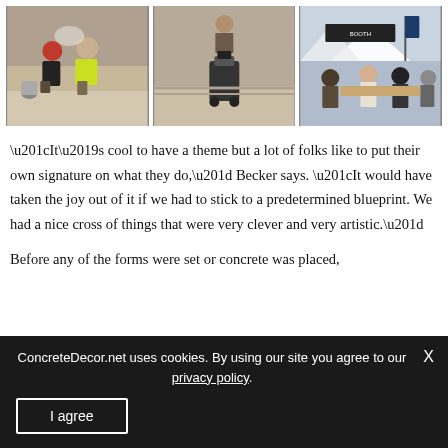[Figure (photo): Three photos side by side showing concrete workers at an outdoor event or competition]
“It’s cool to have a theme but a lot of folks like to put their own signature on what they do,” Becker says. “It would have taken the joy out of it if we had to stick to a predetermined blueprint. We had a nice cross of things that were very clever and very artistic.”
Before any of the forms were set or concrete was placed,
ConcreteDecor.net uses cookies. By using our site you agree to our privacy policy.